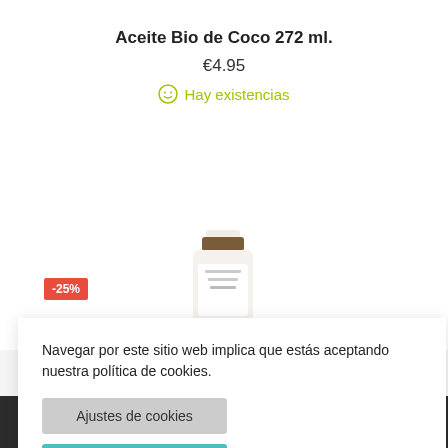Aceite Bio de Coco 272 ml.
€4.95
☺ Hay existencias
[Figure (photo): Jar of Bio Coconut Oil 272ml with a -25% discount badge]
Navegar por este sitio web implica que estás aceptando nuestra política de cookies.
Ajustes de cookies
Aceptarlas todas